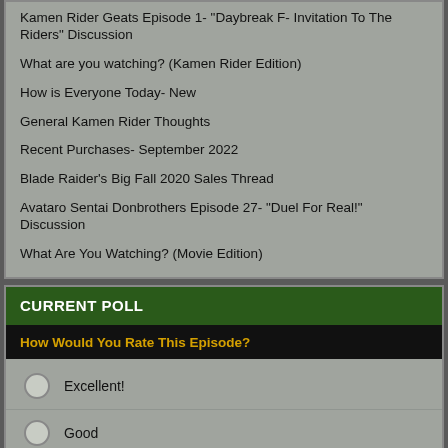Kamen Rider Geats Episode 1- "Daybreak F- Invitation To The Riders" Discussion
What are you watching? (Kamen Rider Edition)
How is Everyone Today- New
General Kamen Rider Thoughts
Recent Purchases- September 2022
Blade Raider's Big Fall 2020 Sales Thread
Avataro Sentai Donbrothers Episode 27- "Duel For Real!" Discussion
What Are You Watching? (Movie Edition)
CURRENT POLL
How Would You Rate This Episode?
Excellent!
Good
Average
OK